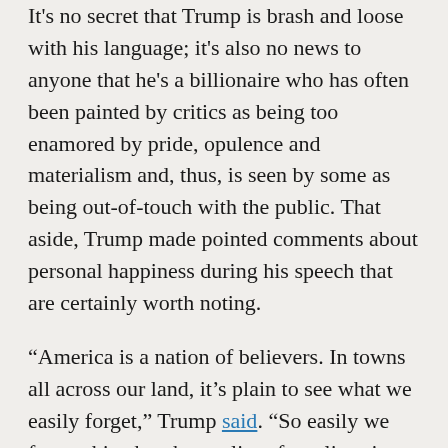It's no secret that Trump is brash and loose with his language; it's also no news to anyone that he's a billionaire who has often been painted by critics as being too enamored by pride, opulence and materialism and, thus, is seen by some as being out-of-touch with the public. That aside, Trump made pointed comments about personal happiness during his speech that are certainly worth noting.
“America is a nation of believers. In towns all across our land, it’s plain to see what we easily forget,” Trump said. “So easily we forget this, that the quality of our lives is not defined by our material success, but by our spiritual success.”
And he didn’t stop there, going on to further dissect the importance of internal measures over material wealth and possessions.